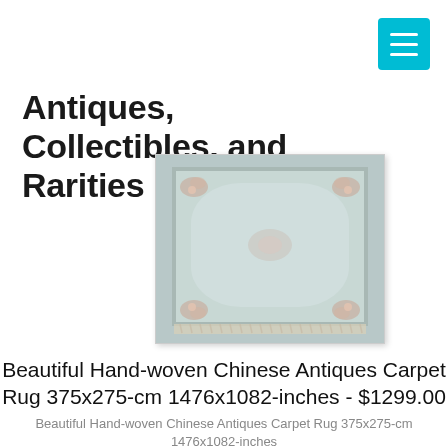Antiques, Collectibles, and Rarities
[Figure (photo): A hand-woven Chinese antique carpet rug photographed from above, showing a light blue/grey field with floral border patterns and fringe edges.]
Beautiful Hand-woven Chinese Antiques Carpet Rug 375x275-cm 1476x1082-inches - $1299.00
Beautiful Hand-woven Chinese Antiques Carpet Rug 375x275-cm 1476x1082-inches